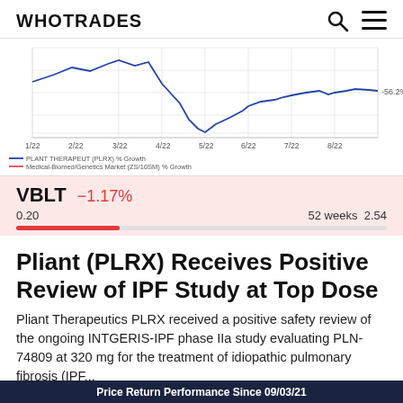WHOTRADES
[Figure (continuous-plot): Line chart showing price return performance since 09/03/21, with x-axis labels 1/22, 2/22, 3/22, 4/22, 5/22, 6/22, 7/22, 8/22 and a value of -56.2% shown on the right. Legend shows PLANT THERAPEUT (PLRX) % Growth, Medical-Biomed/Genetics Market (ZS/10SM) % Growth, Medical Market (TSAM) % Growth.]
VBLT  −1.17%
0.20    52 weeks  2.54
Pliant (PLRX) Receives Positive Review of IPF Study at Top Dose
Pliant Therapeutics PLRX received a positive safety review of the ongoing INTGERIS-IPF phase IIa study evaluating PLN-74809 at 320 mg for the treatment of idiopathic pulmonary fibrosis (IPF...
Zacks
0  0
Price Return Performance Since 09/03/21